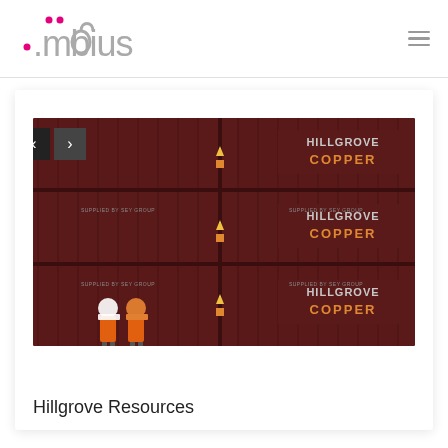[Figure (logo): Mobius logo — stylized lowercase '.mobius' text in grey with pink dots above the letters m and o]
[Figure (photo): Stacked dark red/maroon shipping containers with 'HILLGROVE COPPER' labels in orange text. Two workers in orange high-vis vests and white hard hats stand in front of the containers. Navigation arrows (< >) are overlaid on the top-left of the image.]
Hillgrove Resources